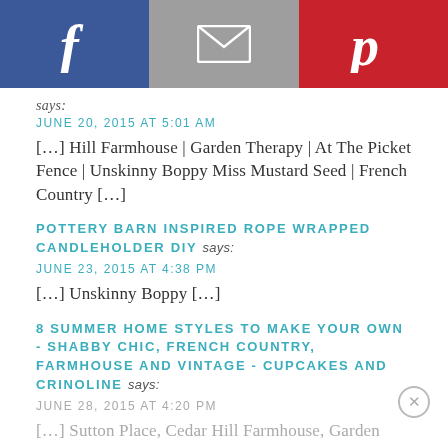[Figure (infographic): Social sharing header bar with three equal sections: Facebook (blue, f icon), Email (gray, envelope icon), Pinterest (red, P icon)]
says:
JUNE 20, 2015 AT 5:01 AM
[...] Hill Farmhouse | Garden Therapy | At The Picket Fence | Unskinny Boppy Miss Mustard Seed | French Country [...]
POTTERY BARN INSPIRED ROPE WRAPPED CANDLEHOLDER DIY says:
JUNE 23, 2015 AT 4:38 PM
[...] Unskinny Boppy [...]
8 SUMMER HOME STYLES TO MAKE YOUR OWN - SHABBY CHIC, FRENCH COUNTRY, FARMHOUSE AND VINTAGE - CUPCAKES AND CRINOLINE says:
JUNE 28, 2015 AT 4:20 PM
[...] Sutton Place, Cedar Hill Farmhouse, Garden